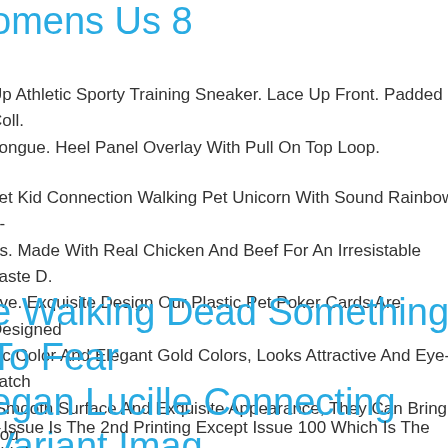omens Us 8
Up Athletic Sporty Training Sneaker. Lace Up Front. Padded Coll. Tongue. Heel Panel Overlay With Pull On Top Loop.
set Kid Connection Walking Pet Unicorn With Sound Rainbow 9-es. Made With Real Chicken And Beef For An Irresistable Taste D. Love. Exquisite Design Our Plastic Pet Poker Cards Are Designed sic Color And Elegant Gold Colors, Looks Attractive And Eye-catch Smooth Surface And Exquisite Appearance, They Can Bring You fortable Playing Experience.
e Walking Dead Something To Fear egan Lucille Connecting Variant Imag omics
y Issue Is The 2nd Printing Except Issue 100 Which Is The Third